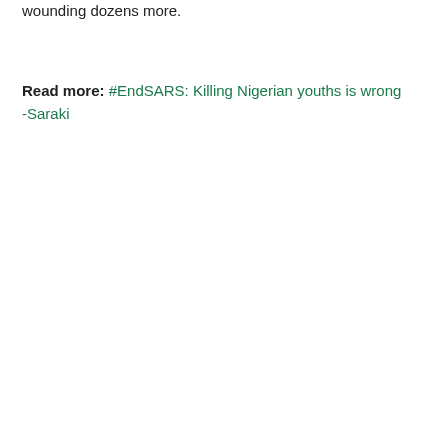wounding dozens more.
Read more: #EndSARS: Killing Nigerian youths is wrong -Saraki